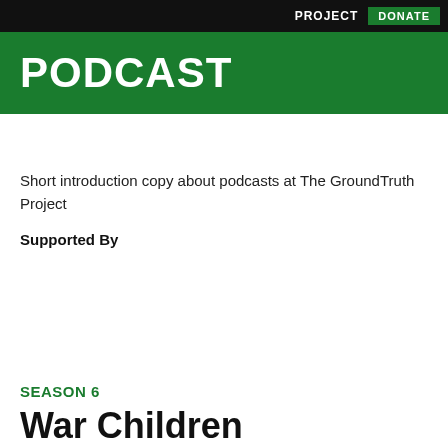PROJECT  DONATE
PODCAST
Short introduction copy about podcasts at The GroundTruth Project
Supported By
SEASON 6
War Children